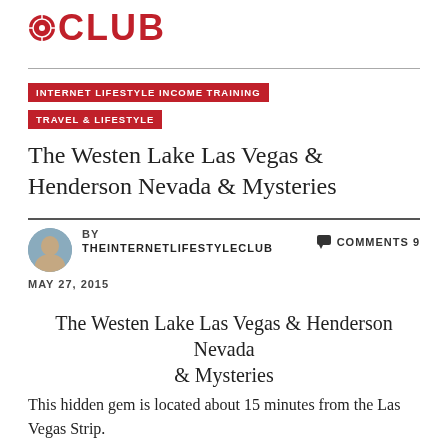CLUB
INTERNET LIFESTYLE INCOME TRAINING
TRAVEL & LIFESTYLE
The Westen Lake Las Vegas & Henderson Nevada & Mysteries
BY THEINTERNETLIFESTYLECLUB   COMMENTS 9   MAY 27, 2015
The Westen Lake Las Vegas & Henderson Nevada & Mysteries
This hidden gem is located about 15 minutes from the Las Vegas Strip.